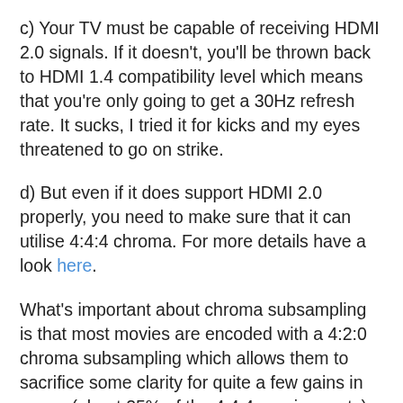c) Your TV must be capable of receiving HDMI 2.0 signals. If it doesn't, you'll be thrown back to HDMI 1.4 compatibility level which means that you're only going to get a 30Hz refresh rate. It sucks, I tried it for kicks and my eyes threatened to go on strike.
d) But even if it does support HDMI 2.0 properly, you need to make sure that it can utilise 4:4:4 chroma. For more details have a look here.
What's important about chroma subsampling is that most movies are encoded with a 4:2:0 chroma subsampling which allows them to sacrifice some clarity for quite a few gains in space (about 25% of the 4:4:4 requirements); BluRay has even spec'd it. The good thing about movies is that they can withstand subsampling, because you usually deal with rather smooth transitions between colours. Even on sharper ones, you'll probably have some kind of a gradient over...